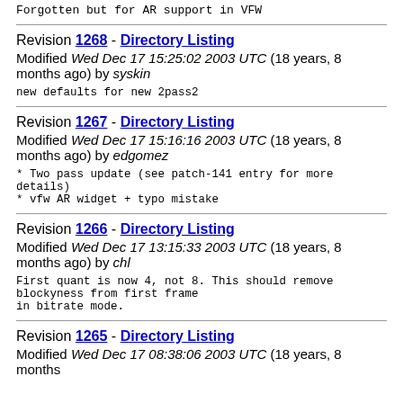Forgotten but for AR support in VFW
Revision 1268 - Directory Listing
Modified Wed Dec 17 15:25:02 2003 UTC (18 years, 8 months ago) by syskin
new defaults for new 2pass2
Revision 1267 - Directory Listing
Modified Wed Dec 17 15:16:16 2003 UTC (18 years, 8 months ago) by edgomez
* Two pass update (see patch-141 entry for more details)
* vfw AR widget + typo mistake
Revision 1266 - Directory Listing
Modified Wed Dec 17 13:15:33 2003 UTC (18 years, 8 months ago) by chl
First quant is now 4, not 8. This should remove blockyness from first frame
in bitrate mode.
Revision 1265 - Directory Listing
Modified Wed Dec 17 08:38:06 2003 UTC (18 years, 8 months ago)